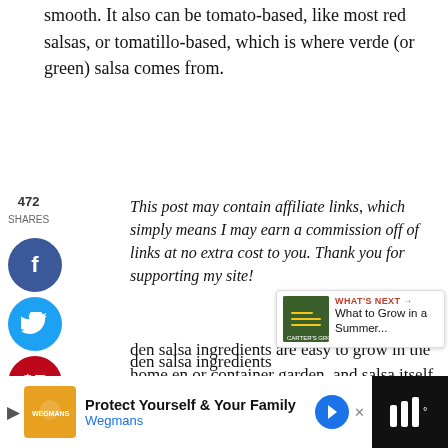smooth. It also can be tomato-based, like most red salsas, or tomatillo-based, which is where verde (or green) salsa comes from.
472 SHARES
This post may contain affiliate links, which simply means I may earn a commission off of links at no extra cost to you. Thank you for supporting my site!
den salsa ingredients are easy to grow in the home en or container garden, and salsa itself is easy to ke. (Check out my recipe for garden fresh pico d at the bottom of the post!) Learn how to grow a garden, so you can have fresh vegetab tortilla chips and to top fish and meat dishes.
[Figure (infographic): Social sharing buttons: Facebook (blue circle with f), Twitter (cyan circle with bird icon), Pinterest (red circle with P), Yummly (orange circle with Yum), Email (green circle with envelope). Also right-side heart button with 474 count and share button.]
[Figure (infographic): WHAT'S NEXT overlay with book image and text: What to Grow in a Summer...]
[Figure (infographic): Advertisement bar at bottom: Protect Yourself & Your Family, Wegmans with logo and arrow icons]